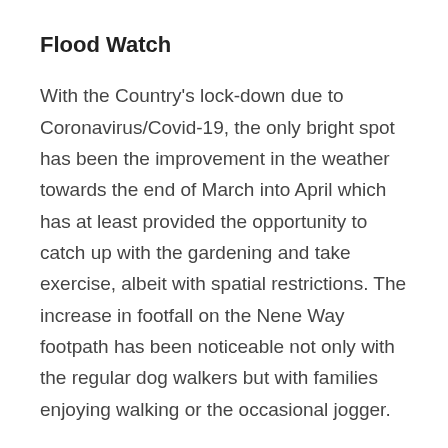Flood Watch
With the Country's lock-down due to Coronavirus/Covid-19, the only bright spot has been the improvement in the weather towards the end of March into April which has at least provided the opportunity to catch up with the gardening and take exercise, albeit with spatial restrictions. The increase in footfall on the Nene Way footpath has been noticeable not only with the regular dog walkers but with families enjoying walking or the occasional jogger.
After the excessively wet February March saw a significant reduction in rainfall ending up at 80%